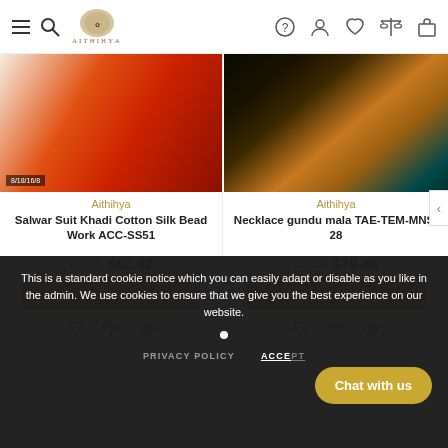Aithihya store header with navigation icons
[Figure (screenshot): Product image: Salwar Suit Khadi Cotton Silk Bead Work - orange/red fabric]
Aithihya
Salwar Suit Khadi Cotton Silk Bead Work ACC-SS51
$67.57 $62.32
ADD TO CART
[Figure (screenshot): Product image: Necklace gundu mala - gold beaded necklace on dark background]
Aithihya
Necklace gundu mala TAE-TEM-MNS-28
$86.35 $79.46
ADD TO CART
This is a standard cookie notice which you can easily adapt or disable as you like in the admin. We use cookies to ensure that we give you the best experience on our website.
PRIVACY POLICY
ACCEPT
Chat with us